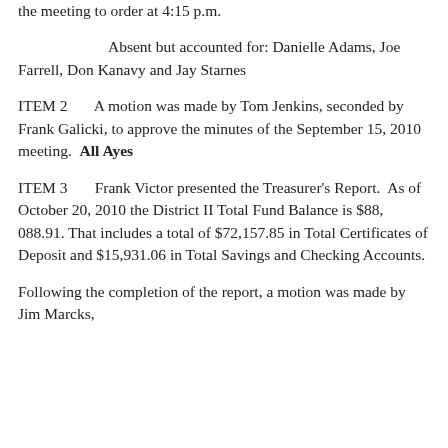the meeting to order at 4:15 p.m.
Absent but accounted for: Danielle Adams, Joe Farrell, Don Kanavy and Jay Starnes
ITEM 2       A motion was made by Tom Jenkins, seconded by Frank Galicki, to approve the minutes of the September 15, 2010 meeting.  All Ayes
ITEM 3       Frank Victor presented the Treasurer's Report.  As of October 20, 2010 the District II Total Fund Balance is $88, 088.91. That includes a total of $72,157.85 in Total Certificates of Deposit and $15,931.06 in Total Savings and Checking Accounts.
Following the completion of the report, a motion was made by Jim Marcks,